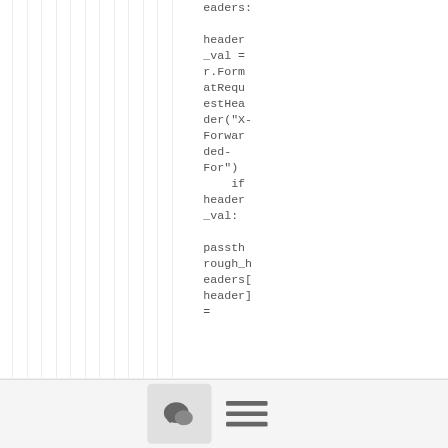eaders:

header_val = r.FormatRequestHeader("X-Forwarded-For")
    if header_val:

passthrough_headers[header] =
[Figure (other): Bottom toolbar with chat bubble icon button and hamburger menu icon]